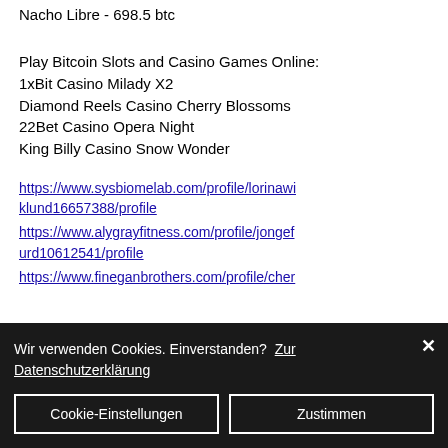Nacho Libre - 698.5 btc
Play Bitcoin Slots and Casino Games Online:
1xBit Casino Milady X2
Diamond Reels Casino Cherry Blossoms
22Bet Casino Opera Night
King Billy Casino Snow Wonder
1xBit Casino Milady X2
Diamond Reels Casino Cherry Blossoms
22Bet Casino Opera Night
King Billy Casino Snow Wonder
https://www.sysbiomelab.com/profile/lorinawiblund16657388/profile
https://www.alygrayfitness.com/profile/jongefurd10612541/profile
https://www.fineganbrothers.com/profile/cher
Wir verwenden Cookies. Einverstanden? Zur Datenschutzerklärung
Cookie-Einstellungen
Zustimmen